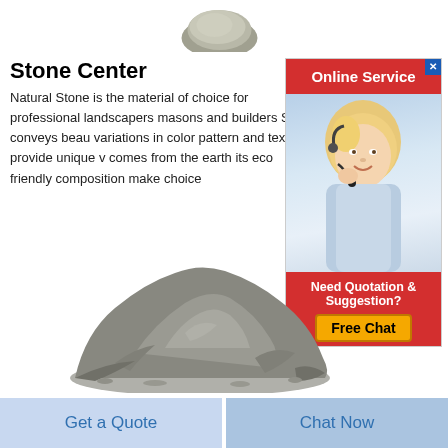[Figure (photo): Top portion of a smooth round stone or gem visible at top center of page]
Stone Center
Natural Stone is the material of choice for professional landscapers masons and builders Stone conveys beau variations in color pattern and texture provide unique v comes from the earth its eco friendly composition make choice
[Figure (photo): Online Service advertisement showing a woman with headset smiling, with red header 'Online Service', and a red bottom section saying 'Need Quotation & Suggestion?' with a yellow 'Free Chat' button]
[Figure (photo): A pile of gray stone powder or crushed stone material]
Get a Quote
Chat Now